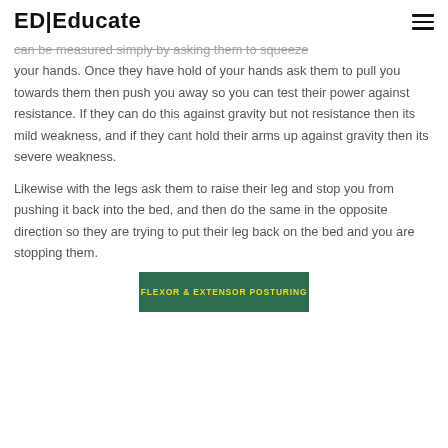ED|Educate
can be measured simply by asking them to squeeze your hands. Once they have hold of your hands ask them to pull you towards them then push you away so you can test their power against resistance. If they can do this against gravity but not resistance then its mild weakness, and if they cant hold their arms up against gravity then its severe weakness.
Likewise with the legs ask them to raise their leg and stop you from pushing it back into the bed, and then do the same in the opposite direction so they are trying to put their leg back on the bed and you are stopping them.
[Figure (photo): Green image banner with yellow text reading 'Flexor & Extensor Posturing']